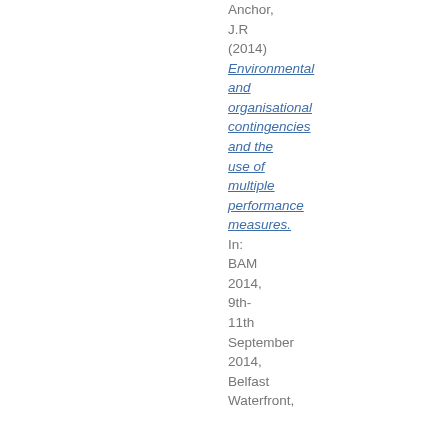Anchor, J.R (2014) Environmental and organisational contingencies and the use of multiple performance measures. In: BAM 2014, 9th-11th September 2014, Belfast Waterfront,